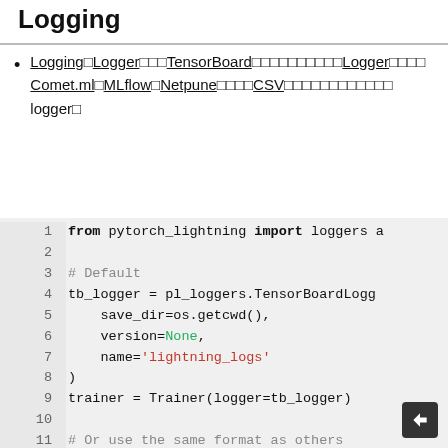Logging
Logging Logger TensorBoard Logger Comet.ml MLflow Netpune CSV logger
[Figure (screenshot): Code block showing Python code for pytorch_lightning logging setup with TensorBoardLogger, lines 1-13]